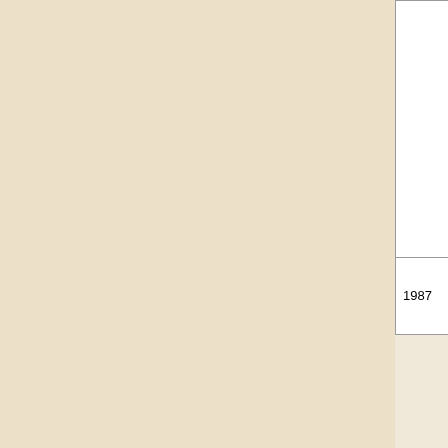| Year | Title | Alternative Title | Description |
| --- | --- | --- | --- |
|  | Buddha |  | an m |
|  | AIDS: The 20th Century Plague | Sida, la Peste del Siglo XX . Operation Sida | Ce be En Li Da |
|  | Phollastia | Fellations Sauvages / Wild Fellatio | St m Li an ex pa |
|  | Falo Crest | Caprices Sados Pour Salopes du Plaisir / Sadistic Whims for Whores of Pleasure · Phallo Crest | St m Li an ex pa |
| 1987 | Ribo la Banda |  | Fr co di |